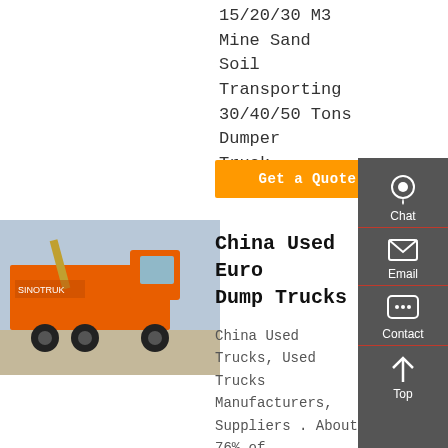15/20/30 M3 Mine Sand Soil Transporting 30/40/50 Tons Dumper Truck
Get a Quote
[Figure (photo): Orange dump/tractor truck parked outdoors, side and front view]
China Used Euro Dump Trucks
China Used Trucks, Used Trucks Manufacturers, Suppliers . About 76% of these are dump trucks, 5% are tractor trucks, and 1% are truck tires.